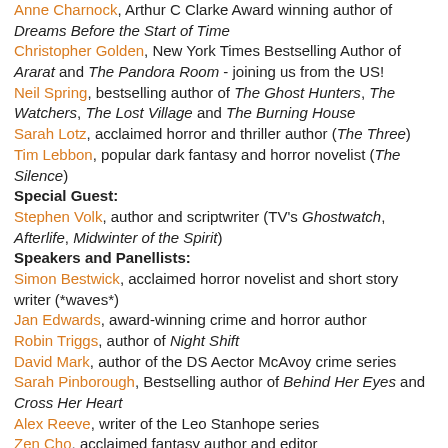Anne Charnock, Arthur C Clarke Award winning author of Dreams Before the Start of Time
Christopher Golden, New York Times Bestselling Author of Ararat and The Pandora Room - joining us from the US!
Neil Spring, bestselling author of The Ghost Hunters, The Watchers, The Lost Village and The Burning House
Sarah Lotz, acclaimed horror and thriller author (The Three)
Tim Lebbon, popular dark fantasy and horror novelist (The Silence)
Special Guest:
Stephen Volk, author and scriptwriter (TV's Ghostwatch, Afterlife, Midwinter of the Spirit)
Speakers and Panellists:
Simon Bestwick, acclaimed horror novelist and short story writer (*waves*)
Jan Edwards, award-winning crime and horror author
Robin Triggs, author of Night Shift
David Mark, author of the DS Aector McAvoy crime series
Sarah Pinborough, Bestselling author of Behind Her Eyes and Cross Her Heart
Alex Reeve, writer of the Leo Stanhope series
Zen Cho, acclaimed fantasy author and editor
Adrian Tchaikovsky, Arthur C Clarke Award-winning SF and